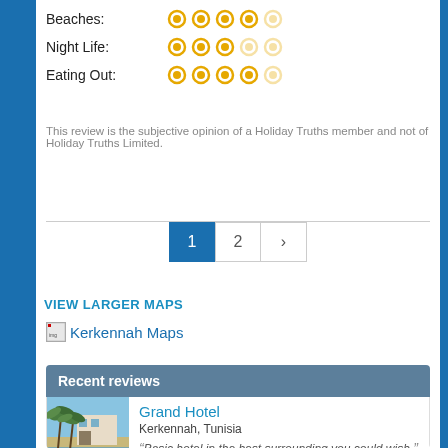Beaches: 4/5 stars
Night Life: 3/5 stars
Eating Out: 4/5 stars
This review is the subjective opinion of a Holiday Truths member and not of Holiday Truths Limited.
Pagination: 1, 2, >
VIEW LARGER MAPS
[Figure (photo): Kerkennah Maps image link with broken image icon]
Recent reviews
Grand Hotel
Kerkennah, Tunisia
“Basic hotel in the best surrounding you could wish.”